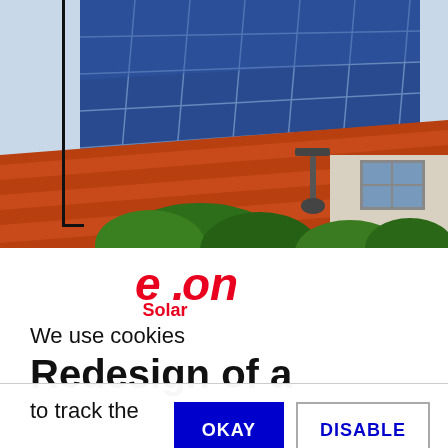[Figure (photo): Photograph of solar panels installed on a red tiled roof of a house, with green trees/bushes in the foreground and a window visible on the right side of the house.]
[Figure (logo): E.ON Solar logo — stylized italic 'e.on' in red with 'Solar' in red below]
We use cookies
Redesign of a
to track the

website usage

and user
OKAY
DISABLE